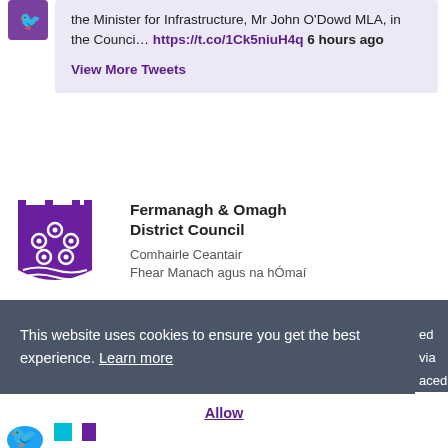the Minister for Infrastructure, Mr John O'Dowd MLA, in the Counci... https://t.co/1Ck5niuH4q 6 hours ago
View More Tweets
[Figure (logo): Fermanagh & Omagh District Council crest/shield logo in purple with white design elements]
Fermanagh & Omagh District Council
Comhairle Ceantair
Fhear Manach agus na hÓmaí
This website uses cookies to ensure you get the best experience. Learn more
ed via
aced the
Allow
[Figure (logo): Partial logos visible at the bottom of the page]